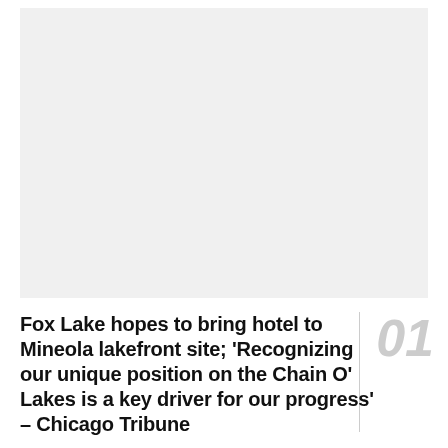[Figure (photo): A light gray rectangular placeholder image occupying the upper portion of the page]
Fox Lake hopes to bring hotel to Mineola lakefront site; 'Recognizing our unique position on the Chain O' Lakes is a key driver for our progress' – Chicago Tribune
01